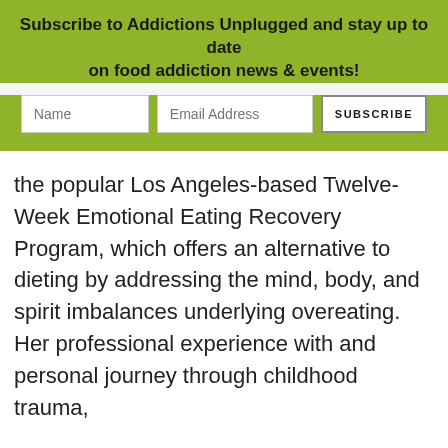Subscribe to Addictions Unplugged and stay up to date on food addiction news & events!
[Figure (other): Web form with Name and Email Address input fields and a SUBSCRIBE button]
the popular Los Angeles-based Twelve-Week Emotional Eating Recovery Program, which offers an alternative to dieting by addressing the mind, body, and spirit imbalances underlying overeating. Her professional experience with and personal journey through childhood trauma,